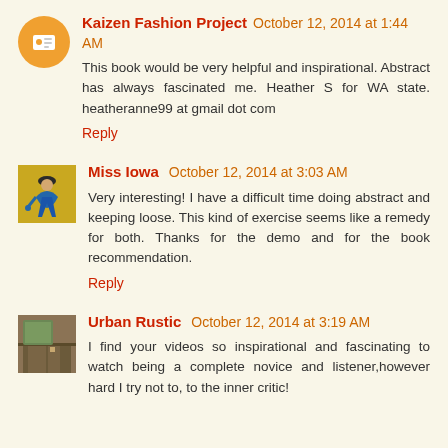Kaizen Fashion Project October 12, 2014 at 1:44 AM
This book would be very helpful and inspirational. Abstract has always fascinated me. Heather S for WA state. heatheranne99 at gmail dot com
Reply
Miss Iowa October 12, 2014 at 3:03 AM
Very interesting! I have a difficult time doing abstract and keeping loose. This kind of exercise seems like a remedy for both. Thanks for the demo and for the book recommendation.
Reply
Urban Rustic October 12, 2014 at 3:19 AM
I find your videos so inspirational and fascinating to watch being a complete novice and listener,however hard I try not to, to the inner critic!